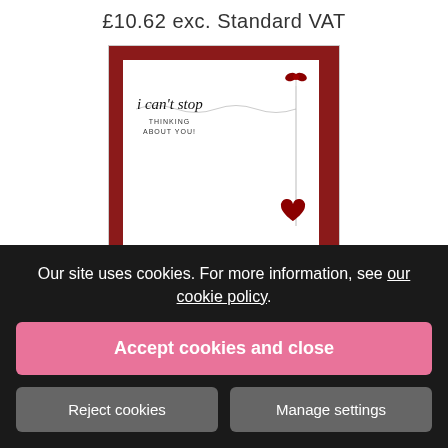£10.62 exc. Standard VAT
[Figure (photo): A greeting card with white front on a red envelope background. The card reads 'i can't stop' in italic script with 'THINKING ABOUT YOU!' printed below. A red glitter bow is in the top right corner and a red glitter heart hangs below it on a string.]
Our site uses cookies. For more information, see our cookie policy.
Accept cookies and close
Reject cookies
Manage settings